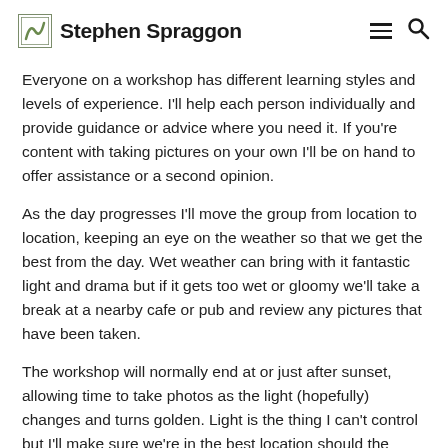Stephen Spraggon
Everyone on a workshop has different learning styles and levels of experience. I'll help each person individually and provide guidance or advice where you need it. If you're content with taking pictures on your own I'll be on hand to offer assistance or a second opinion.
As the day progresses I'll move the group from location to location, keeping an eye on the weather so that we get the best from the day. Wet weather can bring with it fantastic light and drama but if it gets too wet or gloomy we'll take a break at a nearby cafe or pub and review any pictures that have been taken.
The workshop will normally end at or just after sunset, allowing time to take photos as the light (hopefully) changes and turns golden. Light is the thing I can't control but I'll make sure we're in the best location should the odds be in our favour.